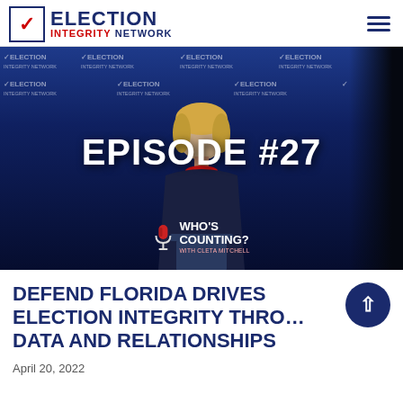ELECTION INTEGRITY NETWORK
[Figure (screenshot): Video thumbnail showing a woman speaking at a podium in front of a blue Election Integrity Network branded backdrop. Text overlay reads 'EPISODE #27' and a 'Who's Counting?' podcast logo appears at the bottom center.]
DEFEND FLORIDA DRIVES ELECTION INTEGRITY THROUGH DATA AND RELATIONSHIPS
April 20, 2022